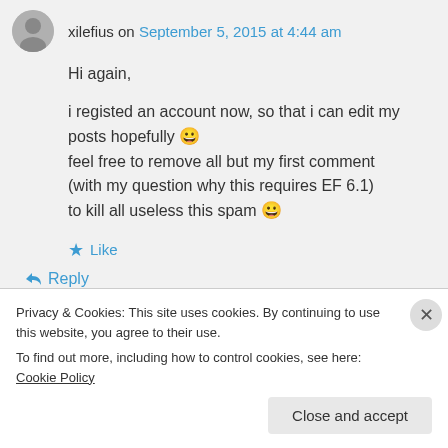xilefius on September 5, 2015 at 4:44 am
Hi again,
i registed an account now, so that i can edit my posts hopefully 😀 feel free to remove all but my first comment (with my question why this requires EF 6.1) to kill all useless this spam 😀
★ Like
↩ Reply
Privacy & Cookies: This site uses cookies. By continuing to use this website, you agree to their use.
To find out more, including how to control cookies, see here: Cookie Policy
Close and accept